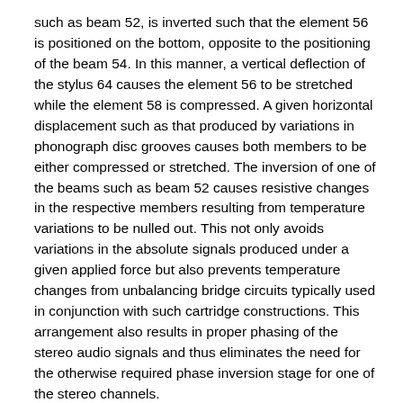such as beam 52, is inverted such that the element 56 is positioned on the bottom, opposite to the positioning of the beam 54. In this manner, a vertical deflection of the stylus 64 causes the element 56 to be stretched while the element 58 is compressed. A given horizontal displacement such as that produced by variations in phonograph disc grooves causes both members to be either compressed or stretched. The inversion of one of the beams such as beam 52 causes resistive changes in the respective members resulting from temperature variations to be nulled out. This not only avoids variations in the absolute signals produced under a given applied force but also prevents temperature changes from unbalancing bridge circuits typically used in conjunction with such cartridge constructions. This arrangement also results in proper phasing of the stereo audio signals and thus eliminates the need for the otherwise required phase inversion stage for one of the stereo channels.
FIG. 3 is a combined schematic and block diagram of a preferred embodiment of the invention wherein a cueing control circuit 66, a force control circuit 90 and a control selection circuit 5 are used. The cueing control circuit 66